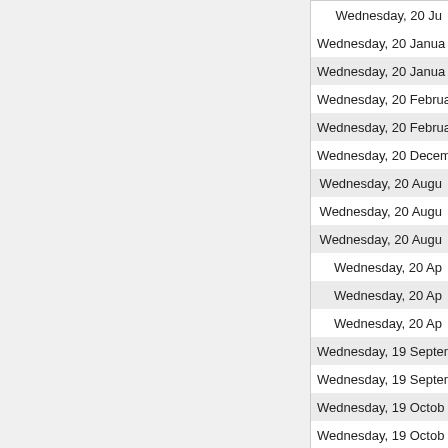| Date |
| --- |
| Wednesday, 20 Ju... |
| Wednesday, 20 Janua... |
| Wednesday, 20 Janua... |
| Wednesday, 20 Februa... |
| Wednesday, 20 Februa... |
| Wednesday, 20 Decemb... |
| Wednesday, 20 Augu... |
| Wednesday, 20 Augu... |
| Wednesday, 20 Augu... |
| Wednesday, 20 Ap... |
| Wednesday, 20 Ap... |
| Wednesday, 20 Ap... |
| Wednesday, 19 Septemb... |
| Wednesday, 19 Septemb... |
| Wednesday, 19 Octob... |
| Wednesday, 19 Octob... |
| Wednesday, 19 Novemb... |
| Wednesday, 19 Novemb... |
| Wednesday, 19 Novemb... |
| Wednesday, 19 Ma... |
| Wednesday, 19 Ma... |